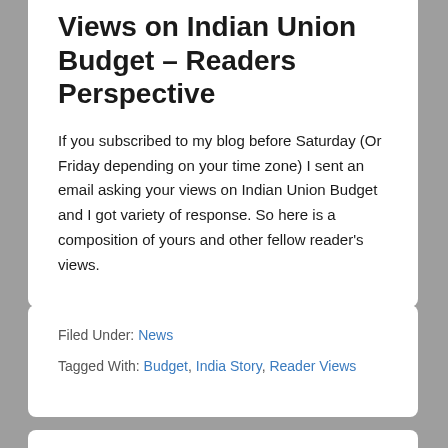Views on Indian Union Budget – Readers Perspective
If you subscribed to my blog before Saturday (Or Friday depending on your time zone) I sent an email asking your views on Indian Union Budget and I got variety of response. So here is a composition of yours and other fellow reader's views.
Filed Under: News
Tagged With: Budget, India Story, Reader Views